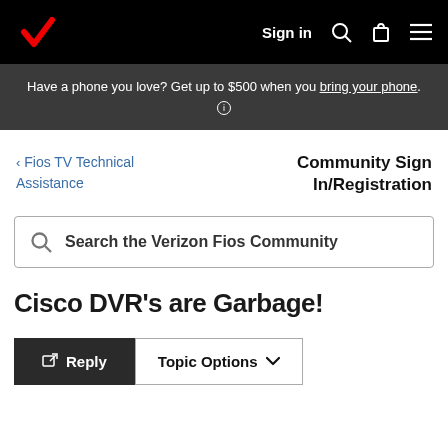Sign in
Have a phone you love? Get up to $500 when you bring your phone.
< Fios TV Technical Assistance
Community Sign In/Registration
Search the Verizon Fios Community
Cisco DVR's are Garbage!
Reply  Topic Options